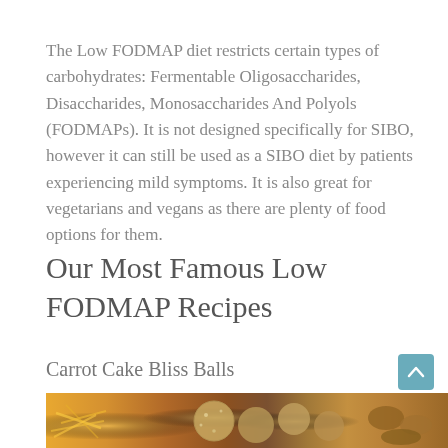The Low FODMAP diet restricts certain types of carbohydrates: Fermentable Oligosaccharides, Disaccharides, Monosaccharides And Polyols (FODMAPs). It is not designed specifically for SIBO, however it can still be used as a SIBO diet by patients experiencing mild symptoms. It is also great for vegetarians and vegans as there are plenty of food options for them.
Our Most Famous Low FODMAP Recipes
Carrot Cake Bliss Balls
[Figure (photo): Photo of carrot cake bliss balls — showing shredded carrots on the left and round bliss balls dusted with coconut on the right, with nuts in the background]